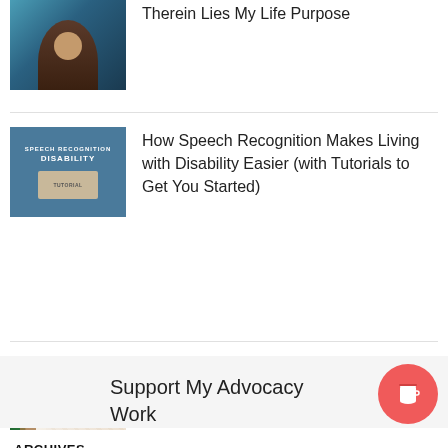Therein Lies My Life Purpose
How Speech Recognition Makes Living with Disability Easier (with Tutorials to Get You Started)
Drink Pure Wine Review (A Product That Excites Me as a Person with Chronic Illness)
Support My Advocacy Work
ARCHIVES